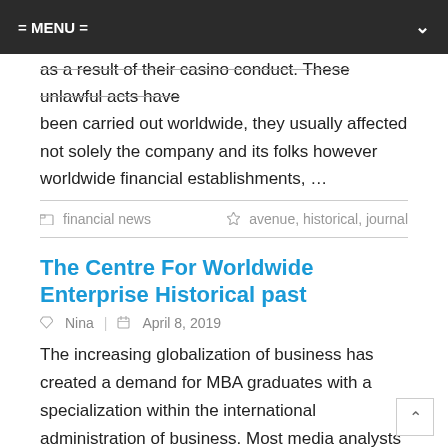= MENU =
as a result of their casino conduct. These unlawful acts have been carried out worldwide, they usually affected not solely the company and its folks however worldwide financial establishments, …
financial news | avenue, historical, journal
The Centre For Worldwide Enterprise Historical past
Nina | April 8, 2019
The increasing globalization of business has created a demand for MBA graduates with a specialization within the international administration of business. Most media analysts from Marshal McLuhan to Noam Chomsky, have shown, television and print information cater to the corporate and political entities who created them, and ensure they preserve them in enterprise. Proper now, I publish, write most of and edit a local on-line newspaper right here in New York with a every day commitment,